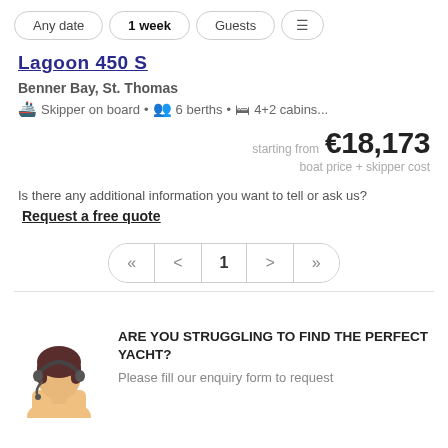Any date | 1 week | Guests
Lagoon 450 S
Benner Bay, St. Thomas
Skipper on board • 6 berths • 4+2 cabins…
starting from €18,173
boat price + skipper cost
Is there any additional information you want to tell or ask us?
Request a free quote
« < 1 > »
[Figure (illustration): Customer support agent avatar with headset, dark hair, light skin]
ARE YOU STRUGGLING TO FIND THE PERFECT YACHT?
Please fill our enquiry form to request